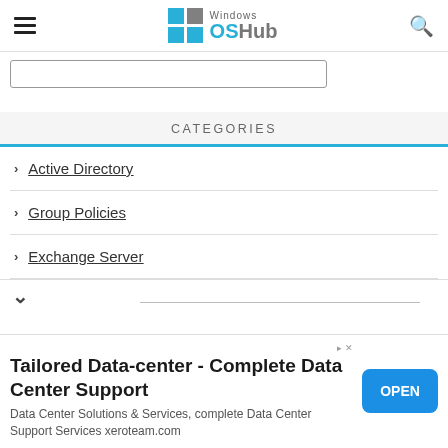Windows OSHub
CATEGORIES
> Active Directory
> Group Policies
> Exchange Server
Tailored Data-center - Complete Data Center Support
Data Center Solutions & Services, complete Data Center Support Services xeroteam.com